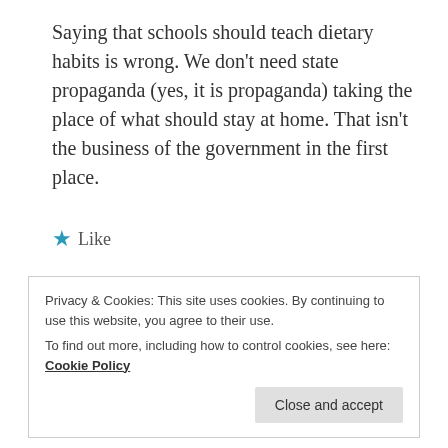Saying that schools should teach dietary habits is wrong. We don't need state propaganda (yes, it is propaganda) taking the place of what should stay at home. That isn't the business of the government in the first place.
★ Like
REPLY
Privacy & Cookies: This site uses cookies. By continuing to use this website, you agree to their use. To find out more, including how to control cookies, see here: Cookie Policy